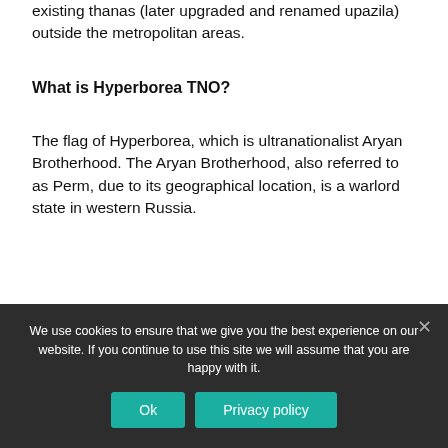existing thanas (later upgraded and renamed upazila) outside the metropolitan areas.
What is Hyperborea TNO?
The flag of Hyperborea, which is ultranationalist Aryan Brotherhood. The Aryan Brotherhood, also referred to as Perm, due to its geographical location, is a warlord state in western Russia.
What is TNO Quality
We use cookies to ensure that we give you the best experience on our website. If you continue to use this site we will assume that you are happy with it.